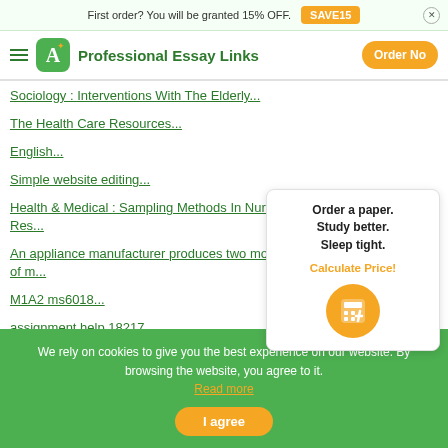First order? You will be granted 15% OFF. SAVE15
Professional Essay Links | Order Now
Sociology : Interventions With The Elderly...
The Health Care Resources...
English...
Simple website editing...
Health & Medical : Sampling Methods In Nurs... Res...
An appliance manufacturer produces two mo... of m...
M1A2 ms6018...
assignment help 18217...
None...
Order a paper. Study better. Sleep tight. Calculate Price!
We rely on cookies to give you the best experience on our website. By browsing the website, you agree to it. Read more
I agree